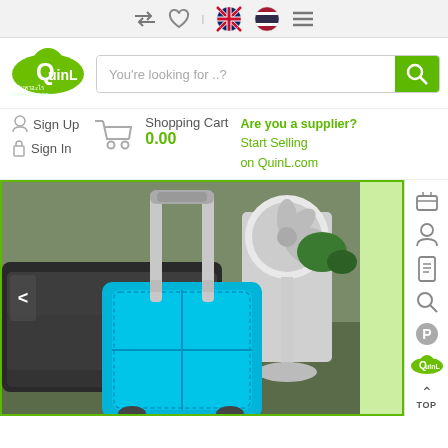Navigation bar with arrows, heart, UK flag, Thailand flag, menu
[Figure (logo): QuinL green cloud logo with Q and Thai text]
You're looking for ..?
Sign Up
Sign In
Shopping Cart 0.00
Are you a supplier? Start Selling on QuinL.com
[Figure (photo): Product photo showing a blue rolling suitcase with handle extended, in a room with a leather sofa and a white standing fan in the background]